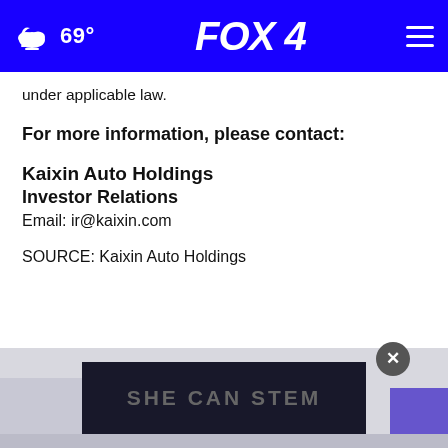69° FOX 4
under applicable law.
For more information, please contact:
Kaixin Auto Holdings
Investor Relations
Email: ir@kaixin.com
SOURCE: Kaixin Auto Holdings
[Figure (screenshot): Advertisement banner reading SHE CAN STEM on dark background with close button]